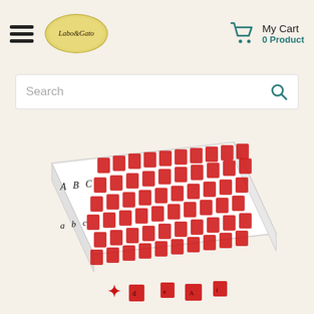Labo&Gato — My Cart 0 Product
Search
[Figure (photo): A white box tray containing red rubber letter stamps arranged in rows, showing uppercase letters A B C and lowercase a b c. Several red stamp pieces are scattered in front of the box.]